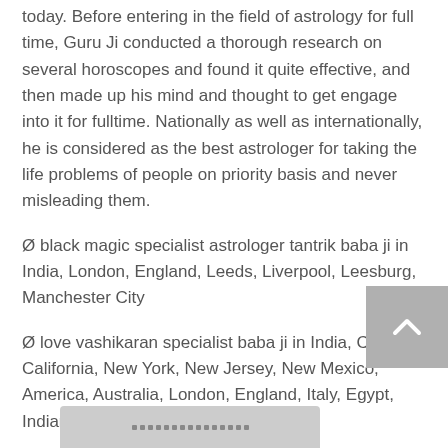today. Before entering in the field of astrology for full time, Guru Ji conducted a thorough research on several horoscopes and found it quite effective, and then made up his mind and thought to get engage into it for fulltime. Nationally as well as internationally, he is considered as the best astrologer for taking the life problems of people on priority basis and never misleading them.
Ø black magic specialist astrologer tantrik baba ji in India, London, England, Leeds, Liverpool, Leesburg, Manchester City
Ø love vashikaran specialist baba ji in India, Canada, California, New York, New Jersey, New Mexico, America, Australia, London, England, Italy, Egypt, Indianapolis, Indiana
Ø husband wife problems solution astrologer baba ji austria, austin,